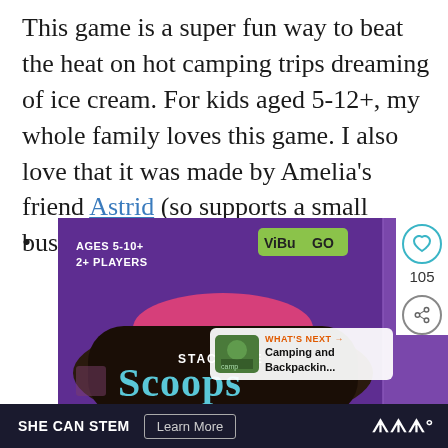This game is a super fun way to beat the heat on hot camping trips dreaming of ice cream. For kids aged 5-12+, my whole family loves this game. I also love that it was made by Amelia's friend Astrid (so supports a small business!)
•
[Figure (photo): A purple game box for 'Stack the Scoops' by ViBu GO, showing 'Ages 5-10+, 2+ Players', with a teal/pink ice cream scoops logo. Sidebar shows heart icon with 105 likes and share icon. A 'What's Next' overlay shows 'Camping and Backpackin...' thumbnail.]
SHE CAN STEM  Learn More